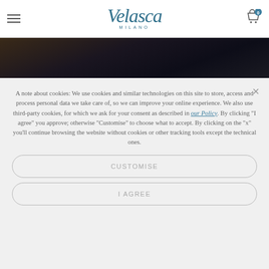[Figure (logo): Velasca Milano brand logo in teal/dark blue script font with MILANO subtitle]
[Figure (photo): Dark photo strip showing people at an event, dimly lit]
A note about cookies: We use cookies and similar technologies on this site to store, access and process personal data we take care of, so we can improve your online experience. We also use third-party cookies, for which we ask for your consent as described in our Policy. By clicking “I agree” you approve; otherwise “Customise” to choose what to accept. By clicking on the “x” you’ll continue browsing the website without cookies or other tracking tools except the technical ones.
CUSTOMISE
I AGREE